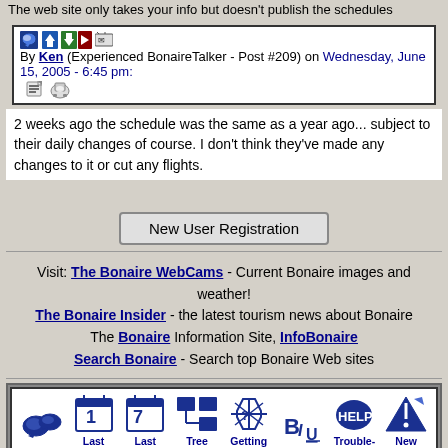The web site only takes your info but doesn't publish the schedules
By Ken (Experienced BonaireTalker - Post #209) on Wednesday, June 15, 2005 - 6:45 pm:
2 weeks ago the schedule was the same as a year ago... subject to their daily changes of course. I don't think they've made any changes to it or cut any flights.
New User Registration
Visit: The Bonaire WebCams - Current Bonaire images and weather!
The Bonaire Insider - the latest tourism news about Bonaire
The Bonaire Information Site, InfoBonaire
Search Bonaire - Search top Bonaire Web sites
[Figure (screenshot): Navigation icon panel with icons for Topics, Last Day, Last Week, Tree View, Getting Started, Formatting, Trouble-shooting, New Messages, Keyword Search, Contact, User Profile, Administration]